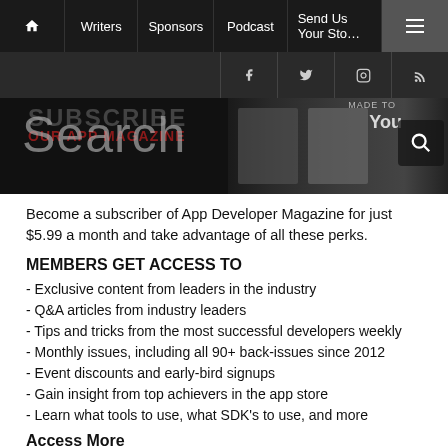Home | Writers | Sponsors | Podcast | Send Us Your Story | Menu
[Figure (screenshot): Social media icons bar: Facebook, Twitter, Instagram, RSS]
[Figure (screenshot): Hero banner with 'Subscribe' and 'Search' text overlay, magazine cover images, and search icon]
Become a subscriber of App Developer Magazine for just $5.99 a month and take advantage of all these perks.
MEMBERS GET ACCESS TO
- Exclusive content from leaders in the industry
- Q&A articles from industry leaders
- Tips and tricks from the most successful developers weekly
- Monthly issues, including all 90+ back-issues since 2012
- Event discounts and early-bird signups
- Gain insight from top achievers in the app store
- Learn what tools to use, what SDK's to use, and more
Access More